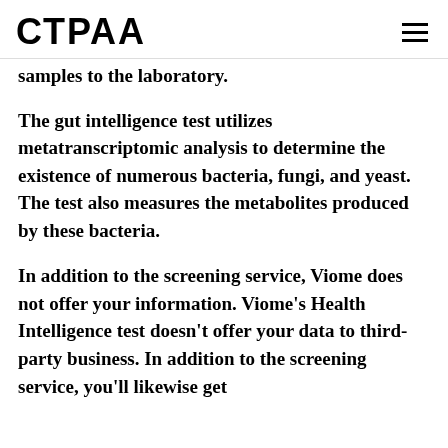СТРAA
samples to the laboratory.
The gut intelligence test utilizes metatranscriptomic analysis to determine the existence of numerous bacteria, fungi, and yeast. The test also measures the metabolites produced by these bacteria.
In addition to the screening service, Viome does not offer your information. Viome's Health Intelligence test doesn't offer your data to third-party business. In addition to the screening service, you'll likewise get